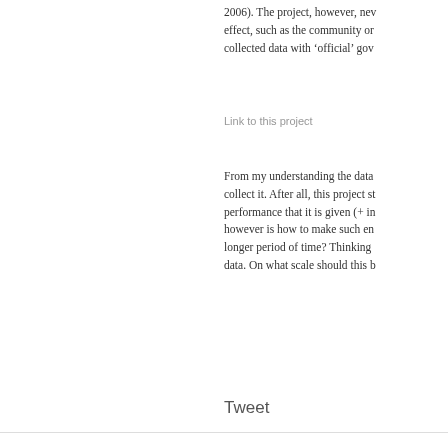2006). The project, however, nev effect, such as the community or collected data with 'official' gov
Link to this project
From my understanding the data collect it. After all, this project st performance that it is given (+ in however is how to make such en longer period of time? Thinking data. On what scale should this b
Tweet